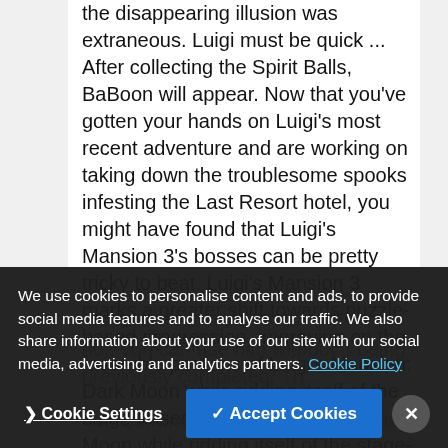the disappearing illusion was extraneous. Luigi must be quick ... After collecting the Spirit Balls, BaBoon will appear. Now that you've gotten your hands on Luigi's most recent adventure and are working on taking down the troublesome spooks infesting the Last Resort hotel, you might have found that Luigi's Mansion 3's bosses can be pretty tricky to beat. Luigi's Mansion 3 marks a greater shift towards puzzle-based progression, improving on the favorable portions of Luigi's Mansion: Dark Moon while ridding itself of the stage-based design that many gamers were critical of. The
We use cookies to personalise content and ads, to provide social media features and to analyse our traffic. We also share information about your use of our site with our social media, advertising and analytics partners. Cookie Policy
not, you can use him without it being previously completed. Th...
"No Commentary" English Gameplay